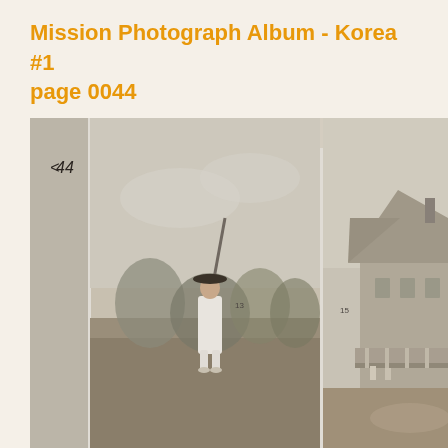Mission Photograph Album - Korea #1
page 0044
[Figure (photo): Black and white historical photograph showing a person dressed in traditional Korean white hanbok clothing and a wide-brimmed gat hat, standing outdoors among sparse trees and shrubs on a hillside. To the right side of the image, partially visible, is a large Western-style building with a peaked roof, porch, and chimney. The photograph appears to be from a mission album and is numbered '44' in the top left corner with additional numbering marks '13' and '15' visible on the photo borders.]